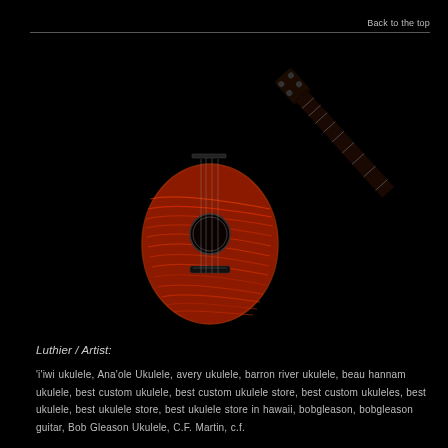Back to the top
[Figure (photo): A red flamed koa ukulele with a figured wood body, photographed diagonally against a black background. The instrument has a concert-style body with a sound hole, bridge, and tuning pegs visible.]
Luthier / Artist:
'i'iwi ukulele, Ana'ole Ukulele, avery ukulele, barron river ukulele, beau hannam ukulele, best custom ukulele, best custom ukulele store, best custom ukuleles, best ukulele, best ukulele store, best ukulele store in hawaii, bobgleason, bobgleason guitar, Bob Gleason Ukulele, C.F. Martin, c.f.